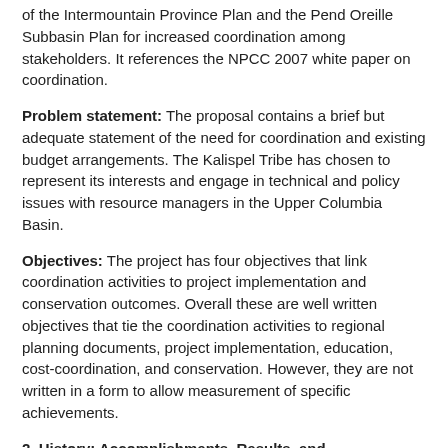of the Intermountain Province Plan and the Pend Oreille Subbasin Plan for increased coordination among stakeholders. It references the NPCC 2007 white paper on coordination.
Problem statement: The proposal contains a brief but adequate statement of the need for coordination and existing budget arrangements. The Kalispel Tribe has chosen to represent its interests and engage in technical and policy issues with resource managers in the Upper Columbia Basin.
Objectives: The project has four objectives that link coordination activities to project implementation and conservation outcomes. Overall these are well written objectives that tie the coordination activities to regional planning documents, project implementation, education, cost-coordination, and conservation. However, they are not written in a form to allow measurement of specific achievements.
2. History: Accomplishments, Results, and